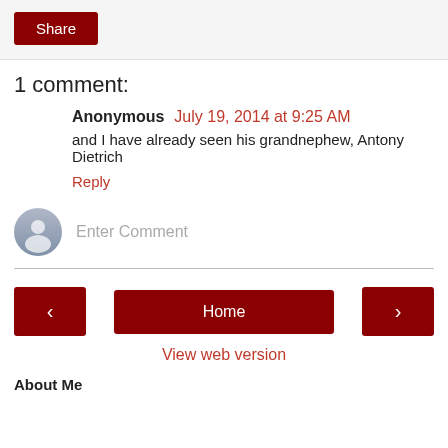[Figure (other): Share button (dark red rounded rectangle)]
1 comment:
Anonymous July 19, 2014 at 9:25 AM
and I have already seen his grandnephew, Antony Dietrich
Reply
[Figure (other): Enter Comment input field with user avatar icon]
[Figure (other): Navigation bar with left arrow, Home, and right arrow buttons]
View web version
About Me